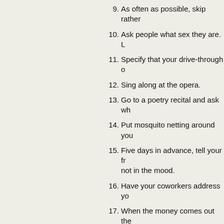9. As often as possible, skip rather
10. Ask people what sex they are. L
11. Specify that your drive-through o
12. Sing along at the opera.
13. Go to a poetry recital and ask wh
14. Put mosquito netting around you
15. Five days in advance, tell your fr not in the mood.
16. Have your coworkers address yo
17. When the money comes out the week!!!!!"
18. When leaving the zoo, start runn lives, they're loose!!"
19. Tell your! children over dinner. "o one of you go." And the final way
20. Send this e-mail to everyone in y asked you not to send them stuf